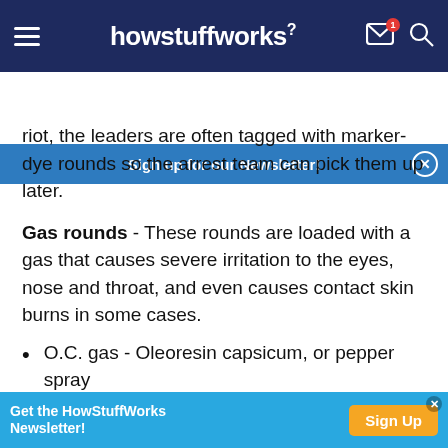howstuffworks
Sign up for our Newsletter!
riot, the leaders are often tagged with marker-dye rounds so the arrest team can pick them up later.
Gas rounds - These rounds are loaded with a gas that causes severe irritation to the eyes, nose and throat, and even causes contact skin burns in some cases.
O.C. gas - Oleoresin capsicum, or pepper spray
O.C. gas - Chlorobenzalmalononitrile...
Get the HowStuffWorks Newsletter! Sign Up